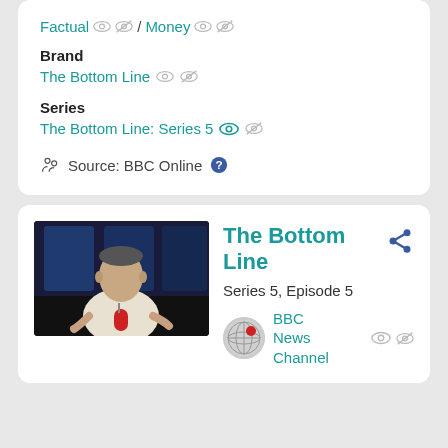Factual / Money
Brand
The Bottom Line
Series
The Bottom Line: Series 5
Source: BBC Online
The Bottom Line
Series 5, Episode 5
BBC News Channel
[Figure (photo): A man in a white shirt sitting and speaking into a microphone in a dark studio with blue lighting]